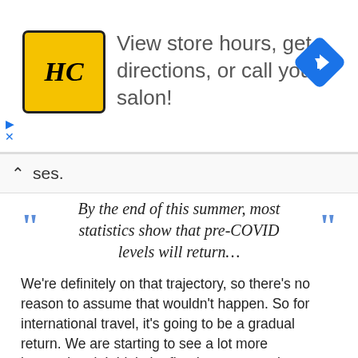[Figure (screenshot): Advertisement banner for HC (Hair Club or similar) salon service. Shows logo, text 'View store hours, get directions, or call your salon!' and a blue diamond navigation arrow icon. Has play and X icons on the left side.]
ses.
By the end of this summer, most statistics show that pre-COVID levels will return…
We're definitely on that trajectory, so there's no reason to assume that wouldn't happen. So for international travel, it's going to be a gradual return. We are starting to see a lot more international. I think the floodgates are going to open as soon as the testing requirement drops.
We've obviously started to see a huge shift in